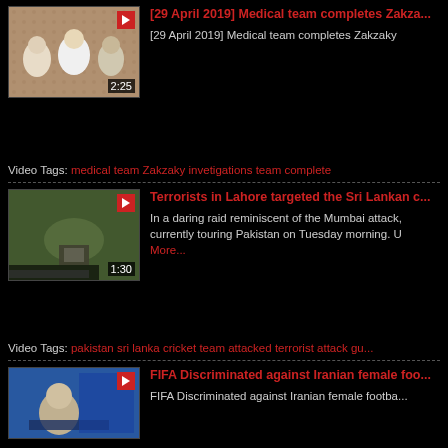[Figure (screenshot): Video thumbnail showing three men seated, duration 2:25]
[29 April 2019] Medical team completes Zakza...
[29 April 2019] Medical team completes Zakzaky
Video Tags: medical team Zakzaky invetigations team complete
[Figure (screenshot): Video thumbnail showing aerial view, duration 1:30]
Terrorists in Lahore targeted the Sri Lankan c...
In a daring raid reminiscent of the Mumbai attack, currently touring Pakistan on Tuesday morning. U More...
Video Tags: pakistan sri lanka cricket team attacked terrorist attack gu...
[Figure (screenshot): Video thumbnail showing TV studio presenter]
FIFA Discriminated against Iranian female foo...
FIFA Discriminated against Iranian female footba...